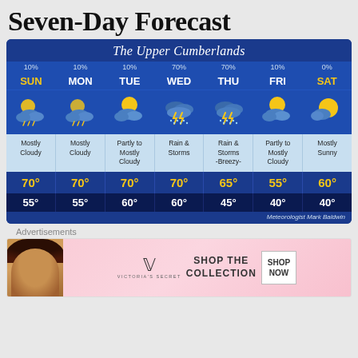Seven-Day Forecast
[Figure (infographic): Seven-day weather forecast for The Upper Cumberlands. Days: SUN, MON, TUE, WED, THU, FRI, SAT. Precipitation chances: 10%, 10%, 10%, 70%, 70%, 10%, 0%. Weather icons for each day. Conditions: Mostly Cloudy, Mostly Cloudy, Partly to Mostly Cloudy, Rain & Storms, Rain & Storms -Breezy-, Partly to Mostly Cloudy, Mostly Sunny. High temps: 70°, 70°, 70°, 70°, 65°, 55°, 60°. Low temps: 55°, 55°, 60°, 60°, 45°, 40°, 40°. Credit: Meteorologist Mark Baldwin.]
Advertisements
[Figure (photo): Victoria's Secret advertisement banner showing a model, VS logo, text 'SHOP THE COLLECTION', and a 'SHOP NOW' button.]